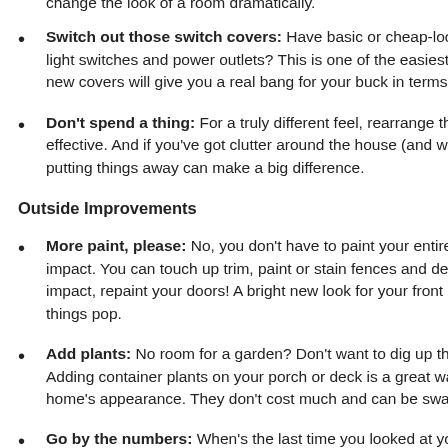change the look of a room dramatically.
Switch out those switch covers: Have basic or cheap-looking covers on your light switches and power outlets? This is one of the easiest updates you can do; new covers will give you a real bang for your buck in terms of value.
Don't spend a thing: For a truly different feel, rearrange the furniture. It's free and effective. And if you've got clutter around the house (and who doesn't?), simply putting things away can make a big difference.
Outside Improvements
More paint, please: No, you don't have to paint your entire exterior to make an impact. You can touch up trim, paint or stain fences and decks, and for maximum impact, repaint your doors! A bright new look for your front door can really make things pop.
Add plants: No room for a garden? Don't want to dig up the yard? No problem. Adding container plants on your porch or deck is a great way to improve your home's appearance. They don't cost much and can be swapped out easily.
Go by the numbers: When's the last time you looked at your house numbers? If they're worn or dated, this is an easy and inexpensive fix.
How about a fence (or a gate, or a front door)...